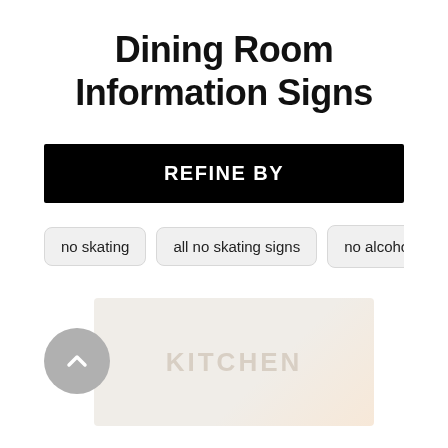Dining Room Information Signs
REFINE BY
no skating
all no skating signs
no alcohol ›
[Figure (illustration): A partial product preview showing a sign with 'KITCHEN' text on a light peach/cream background, with a gray circular back-to-top button with an upward chevron arrow overlaid on the left side.]